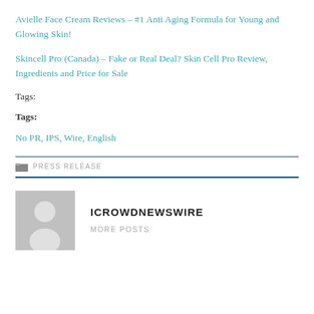Avielle Face Cream Reviews – #1 Anti Aging Formula for Young and Glowing Skin!
Skincell Pro (Canada) – Fake or Real Deal? Skin Cell Pro Review, Ingredients and Price for Sale
Tags:
Tags:
No PR, IPS, Wire, English
PRESS RELEASE
ICROWDNEWSWIRE
MORE POSTS